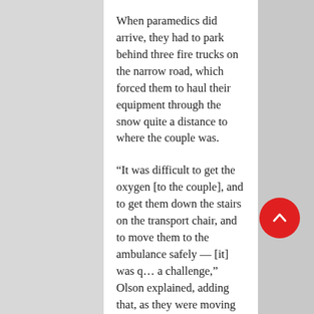When paramedics did arrive, they had to park behind three fire trucks on the narrow road, which forced them to haul their equipment through the snow quite a distance to where the couple was.
“It was difficult to get the oxygen [to the couple], and to get them down the stairs on the transport chair, and to move them to the ambulance safely — [it] was q… a challenge,” Olson explained, adding that, as they were moving the couple, she and the paramedics had to clear glass and debris from their path just to get